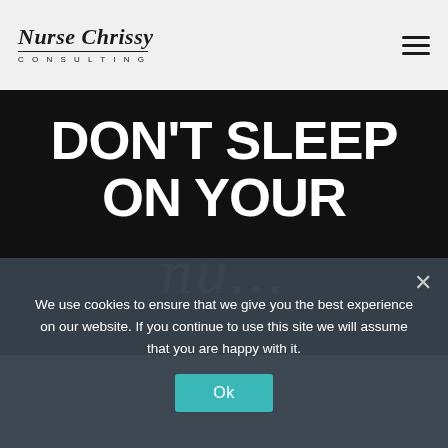Nurse Chrissy Consulting
[Figure (screenshot): Website hero section with black background showing large bold white text 'DON'T SLEEP ON YOUR' and cursive script text beginning below]
DON'T SLEEP ON YOUR
We use cookies to ensure that we give you the best experience on our website. If you continue to use this site we will assume that you are happy with it.
Ok